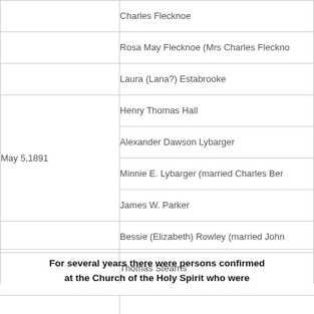| Date | Name |
| --- | --- |
|  | Charles Flecknoe |
|  | Rosa May Flecknoe (Mrs Charles Flecknoe |
|  | Laura (Lana?) Estabrooke |
| May 5,1891 | Henry Thomas Hall |
|  | Alexander Dawson Lybarger |
|  | Minnie E. Lybarger (married Charles Ber |
|  | James W. Parker |
|  | Bessie (Elizabeth) Rowley (married John |
|  | Thomas Stearns |
For several years there were persons confirmed at the Church of the Holy Spirit who were